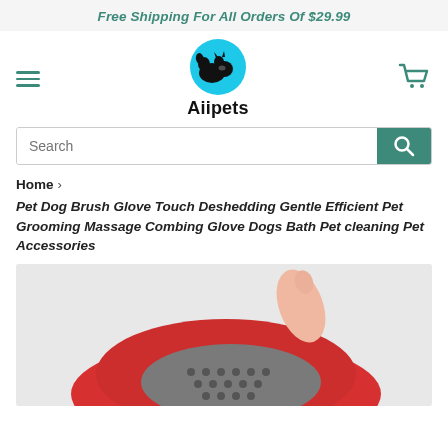Free Shipping For All Orders Of $29.99
[Figure (logo): Aiipets logo: blue circle with black dog and cat silhouettes, text 'Aiipets' below]
Search
Home > Pet Dog Brush Glove Touch Deshedding Gentle Efficient Pet Grooming Massage Combing Glove Dogs Bath Pet cleaning Pet Accessories
[Figure (photo): Red pet grooming glove with gray rubber tip nubs and a pink/skin-colored thumb visible, photographed from above]